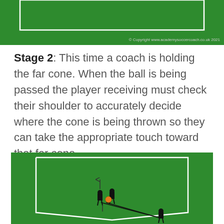[Figure (illustration): Top portion of a soccer drill diagram on a green field with white lines and a copyright notice reading '© Copyright www.academysoccercoach.co.uk 2021']
Stage 2: This time a coach is holding the far cone. When the ball is being passed the player receiving must check their shoulder to accurately decide where the cone is being thrown so they can take the appropriate touch toward that far cone.
[Figure (illustration): Soccer drill diagram on a green field showing two players near the center with an orange ball, arrows indicating movement directions, and another player in the lower right. White boundary lines visible.]